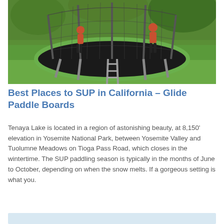[Figure (photo): Two children jumping on a large trampoline with safety net enclosure in a green grassy backyard]
Best Places to SUP in California - Glide Paddle Boards
Tenaya Lake is located in a region of astonishing beauty, at 8,150' elevation in Yosemite National Park, between Yosemite Valley and Tuolumne Meadows on Tioga Pass Road, which closes in the wintertime. The SUP paddling season is typically in the months of June to October, depending on when the snow melts. If a gorgeous setting is what you.
[Figure (photo): Partial image at bottom of page showing a light blue/grey background]